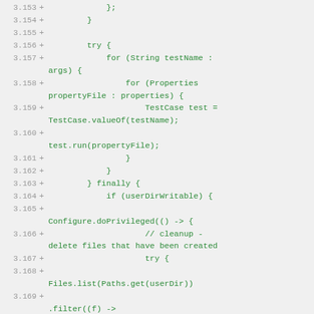Code diff showing lines 3.153 through 3.170 of a Java source file with test runner logic including try/finally block, for loops, TestCase.valueOf, test.run, Configure.doPrivileged, and Files.list operations.